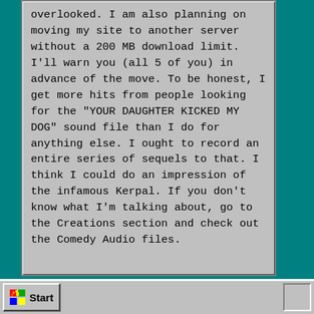overlooked. I am also planning on moving my site to another server without a 200 MB download limit. I'll warn you (all 5 of you) in advance of the move. To be honest, I get more hits from people looking for the "YOUR DAUGHTER KICKED MY DOG" sound file than I do for anything else. I ought to record an entire series of sequels to that. I think I could do an impression of the infamous Kerpal. If you don't know what I'm talking about, go to the Creations section and check out the Comedy Audio files.
Start